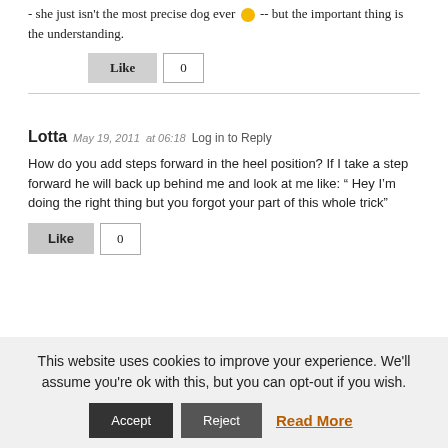- she just isn't the most precise dog ever 🙂 -- but the important thing is the understanding.
Like  0
Lotta  May 19, 2011  at 06:18  Log in to Reply
How do you add steps forward in the heel position? If I take a step forward he will back up behind me and look at me like: " Hey I'm doing the right thing but you forgot your part of this whole trick"
Like  0
This website uses cookies to improve your experience. We'll assume you're ok with this, but you can opt-out if you wish.
Accept  Reject  Read More